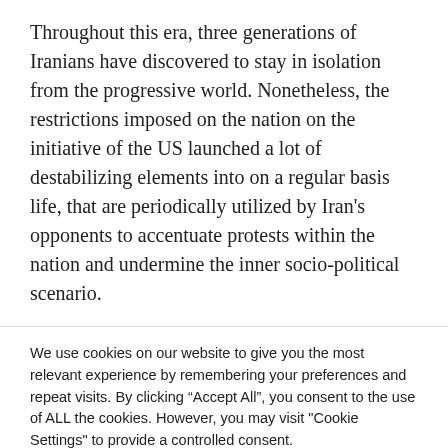Throughout this era, three generations of Iranians have discovered to stay in isolation from the progressive world. Nonetheless, the restrictions imposed on the nation on the initiative of the US launched a lot of destabilizing elements into on a regular basis life, that are periodically utilized by Iran’s opponents to accentuate protests within the nation and undermine the inner socio-political scenario.
We use cookies on our website to give you the most relevant experience by remembering your preferences and repeat visits. By clicking “Accept All”, you consent to the use of ALL the cookies. However, you may visit "Cookie Settings" to provide a controlled consent.
Cookie Settings | Accept All